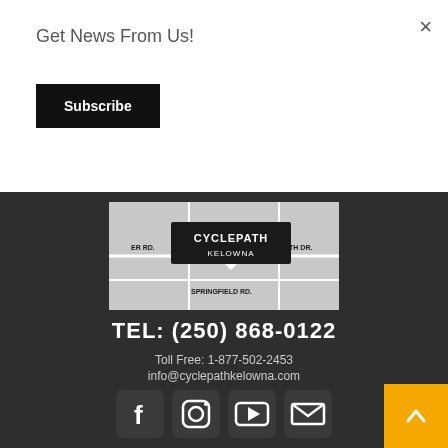×
Get News From Us!
Subscribe
[Figure (map): A map showing the location of Cyclepath Kelowna near Springfield Rd., with the store name prominently displayed on a dark background.]
TEL: (250) 868-0122
Toll Free: 1-877-502-2453
info@cyclepathkelowna.com
[Figure (infographic): Row of four social media icons: Facebook, Instagram, YouTube, and Email (envelope), all white on dark rounded-square backgrounds.]
HOURS
Mon – Sat: 9:30 AM to 5:30 PM